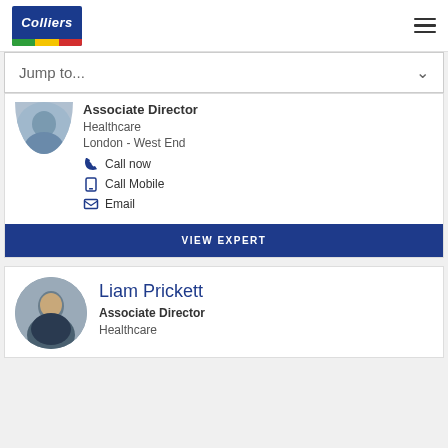[Figure (logo): Colliers logo — dark blue box with white italic text 'Colliers' and green/yellow/red stripes at bottom]
Jump to...
Associate Director
Healthcare
London - West End
Call now
Call Mobile
Email
VIEW EXPERT
Liam Prickett
Associate Director
Healthcare